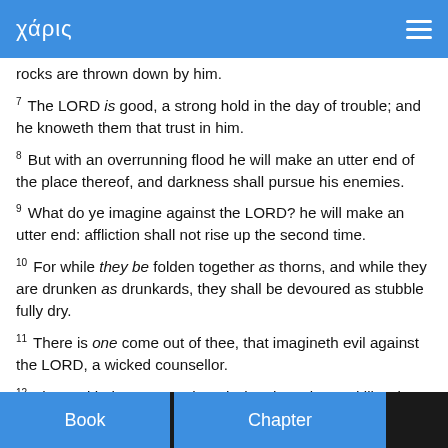χάρις
rocks are thrown down by him.
7 The LORD is good, a strong hold in the day of trouble; and he knoweth them that trust in him.
8 But with an overrunning flood he will make an utter end of the place thereof, and darkness shall pursue his enemies.
9 What do ye imagine against the LORD? he will make an utter end: affliction shall not rise up the second time.
10 For while they be folden together as thorns, and while they are drunken as drunkards, they shall be devoured as stubble fully dry.
11 There is one come out of thee, that imagineth evil against the LORD, a wicked counsellor.
12 Thus saith the LORD: Though they be quiet, and likewise many, yet thus shall they be cut down, when he shall pass through. Though I have afflicted thee, I will afflict thee no more.
Book  Chapter